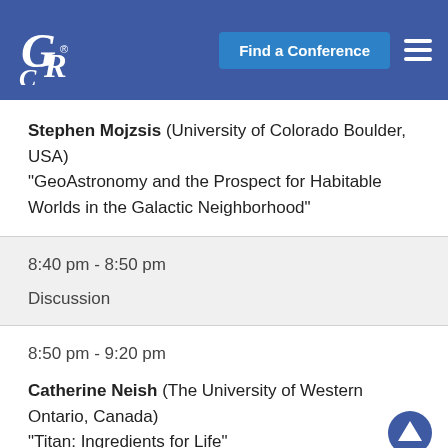GRC — Find a Conference
Stephen Mojzsis (University of Colorado Boulder, USA) "GeoAstronomy and the Prospect for Habitable Worlds in the Galactic Neighborhood"
8:40 pm - 8:50 pm
Discussion
8:50 pm - 9:20 pm
Catherine Neish (The University of Western Ontario, Canada) "Titan: Ingredients for Life"